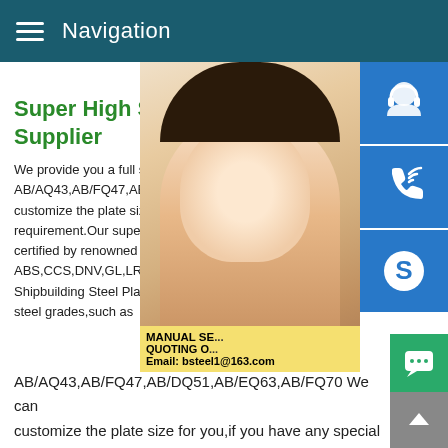Navigation
Super High Strength Shipbuilding Steel Plate Supplier
We provide you a full selection of steel grades,such as AB/AQ43,AB/FQ47,AB/DQ51,AB/EQ63,AB/FQ70 We can customize the plate size for you,if you have any special requirement.Our super high strength shipbuilding steel plates certified by renowned classification societies,such as ABS,CCS,DNV,GL,LR,RINA,BV,KR,NK.Super High Strength Shipbuilding Steel Plate Supplier We provide you a full selection of steel grades,such as AB/AQ43,AB/FQ47,AB/DQ51,AB/EQ63,AB/FQ70 We can customize the plate size for you,if you have any special requirement.Our super high strength shipbuilding steel plates certified by renowned classification societies,such as ABS,CCS,DNV,GL,LR,RINA,BV,KR,NK. Some results are rem...
[Figure (photo): Customer service representative woman smiling with headset, with blue contact/support icon buttons on right side and yellow banner with MANUAL SE... QUOTING O... Email: bsteel1@163.com]